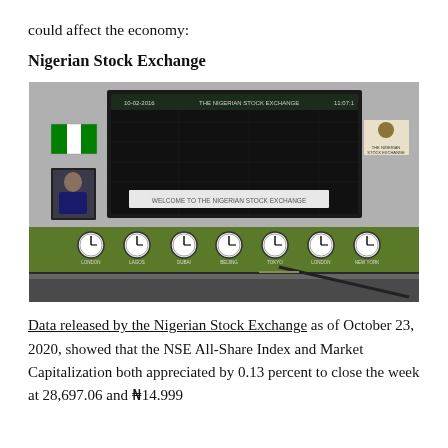could affect the economy:
Nigerian Stock Exchange
[Figure (photo): Interior of the Nigerian Stock Exchange trading floor showing a large electronic display board with 'WELCOME TO THE NIGERIAN STOCK EXCHANGE' text, Nigerian flag, portrait photo, seven world clocks on the wall, date 10-02-2016 and time 11:07:1 shown on the screen, green lower wall panel.]
Data released by the Nigerian Stock Exchange as of October 23, 2020, showed that the NSE All-Share Index and Market Capitalization both appreciated by 0.13 percent to close the week at 28,697.06 and ₦14.999